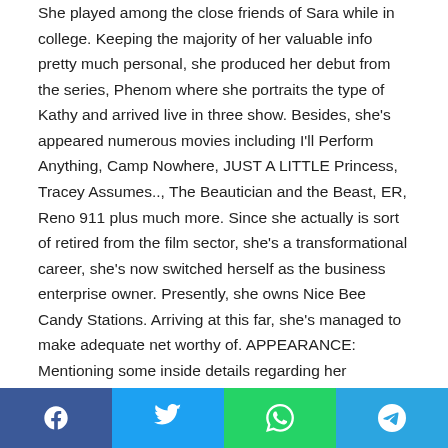She played among the close friends of Sara while in college. Keeping the majority of her valuable info pretty much personal, she produced her debut from the series, Phenom where she portraits the type of Kathy and arrived live in three show. Besides, she's appeared numerous movies including I'll Perform Anything, Camp Nowhere, JUST A LITTLE Princess, Tracey Assumes.., The Beautician and the Beast, ER, Reno 911 plus much more. Since she actually is sort of retired from the film sector, she's a transformational career, she's now switched herself as the business enterprise owner. Presently, she owns Nice Bee Candy Stations. Arriving at this far, she's managed to make adequate net worthy of. APPEARANCE: Mentioning some inside details regarding her appears, appearances and dating background, she actually is masters of both lives.
[Figure (other): Social media share buttons bar with Facebook, Twitter, WhatsApp, and Telegram icons]